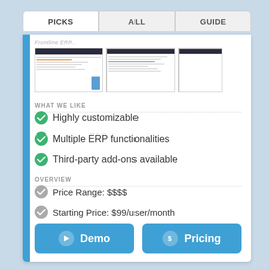PICKS
ALL
GUIDE
[Figure (screenshot): Three software screenshot thumbnails showing ERP application interfaces]
WHAT WE LIKE
Highly customizable
Multiple ERP functionalities
Third-party add-ons available
OVERVIEW
Price Range: $$$$
Starting Price: $99/user/month
Client OS: Web